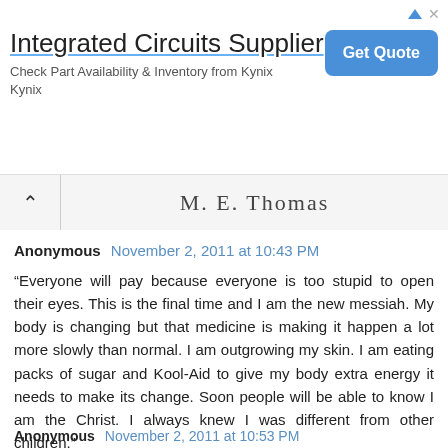[Figure (screenshot): Advertisement banner for 'Integrated Circuits Supplier' from Kynix with a blue 'Get Quote' button]
[Figure (screenshot): Navigation bar with upward chevron and handwritten text 'M. E. Thomas']
Anonymous November 2, 2011 at 10:43 PM
“Everyone will pay because everyone is too stupid to open their eyes. This is the final time and I am the new messiah. My body is changing but that medicine is making it happen a lot more slowly than normal. I am outgrowing my skin. I am eating packs of sugar and Kool-Aid to give my body extra energy it needs to make its change. Soon people will be able to know I am the Christ. I always knew I was different from other children.”

-Damien Echols
Reply
Anonymous November 2, 2011 at 10:53 PM
[Figure (photo): Semi-transparent white face mask / mannequin face in background]